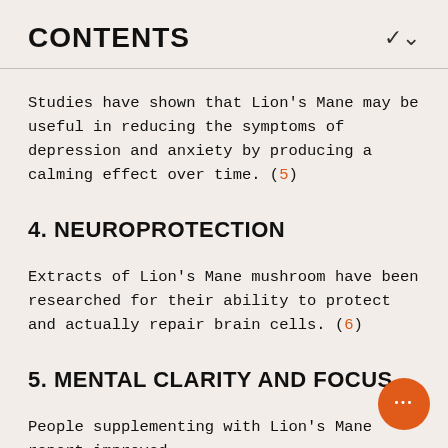CONTENTS
Studies have shown that Lion's Mane may be useful in reducing the symptoms of depression and anxiety by producing a calming effect over time. (5)
4. NEUROPROTECTION
Extracts of Lion's Mane mushroom have been researched for their ability to protect and actually repair brain cells. (6)
5. MENTAL CLARITY AND FOCUS
People supplementing with Lion's Mane report improved